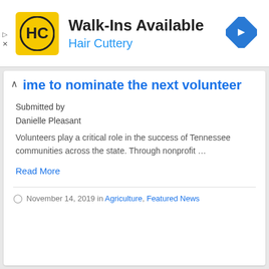[Figure (logo): Hair Cuttery advertisement banner with HC logo, Walk-Ins Available text, and navigation arrow icon]
ime to nominate the next volunteer
Submitted by
Danielle Pleasant
Volunteers play a critical role in the success of Tennessee communities across the state. Through nonprofit …
Read More
November 14, 2019 in Agriculture, Featured News